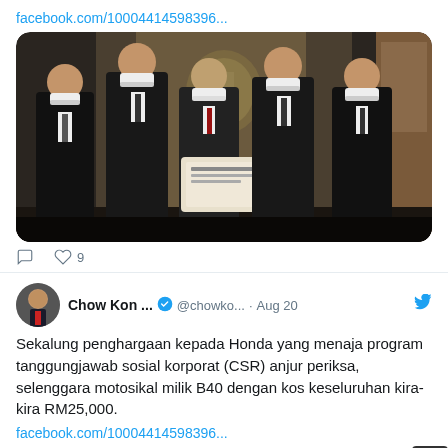facebook.com/10004414598396...
[Figure (photo): Five men in dark suits and face masks standing together in a formal setting, with an official emblem/crest visible on the wall behind them. Two of the men in the center are holding a plaque or certificate.]
♡ 9
Chow Kon ... @chowko... · Aug 20
Sekalung penghargaan kepada Honda yang menaja program tanggungjawab sosial korporat (CSR) anjur periksa, selenggara motosikal milik B40  dengan kos keseluruhan kira-kira RM25,000.
facebook.com/10004414598396...
[Figure (photo): Partial bottom photo strip showing a colorful scene, clipped at the page bottom.]